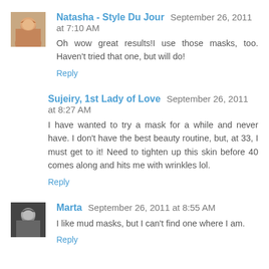Natasha - Style Du Jour   September 26, 2011 at 7:10 AM
Oh wow great results!I use those masks, too. Haven't tried that one, but will do!
Reply
Sujeiry, 1st Lady of Love   September 26, 2011 at 8:27 AM
I have wanted to try a mask for a while and never have. I don't have the best beauty routine, but, at 33, I must get to it! Need to tighten up this skin before 40 comes along and hits me with wrinkles lol.
Reply
Marta   September 26, 2011 at 8:55 AM
I like mud masks, but I can't find one where I am.
Reply